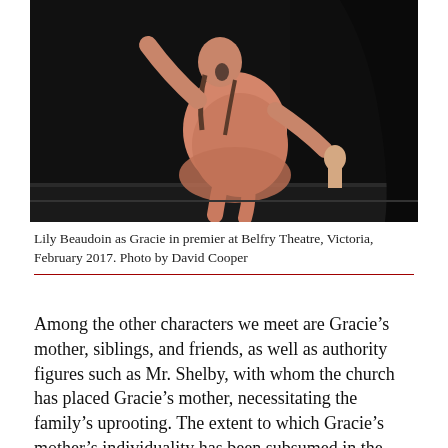[Figure (photo): A woman in a pink/salmon dress performing on a dark stage, one arm raised dramatically, holding a doll in her other hand. Theatrical performance photograph.]
Lily Beaudoin as Gracie in premier at Belfry Theatre, Victoria, February 2017. Photo by David Cooper
Among the other characters we meet are Gracie’s mother, siblings, and friends, as well as authority figures such as Mr. Shelby, with whom the church has placed Gracie’s mother, necessitating the family’s uprooting. The extent to which Gracie’s mother’s individuality has been subsumed in the